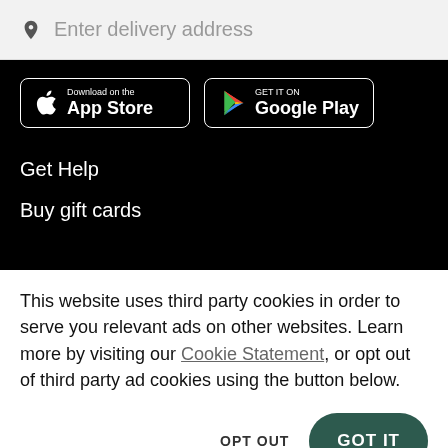Enter delivery address
[Figure (screenshot): App Store and Google Play download buttons on black background]
Get Help
Buy gift cards
This website uses third party cookies in order to serve you relevant ads on other websites. Learn more by visiting our Cookie Statement, or opt out of third party ad cookies using the button below.
OPT OUT
GOT IT